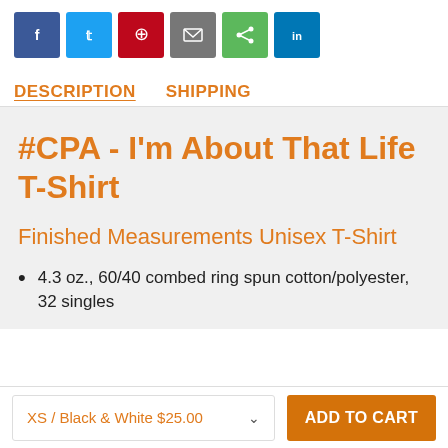[Figure (infographic): Row of social media share buttons: Facebook (blue), Twitter (blue), Pinterest (red), Email (gray), Share (green), LinkedIn (blue)]
DESCRIPTION   SHIPPING
#CPA - I'm About That Life T-Shirt
Finished Measurements Unisex T-Shirt
4.3 oz., 60/40 combed ring spun cotton/polyester, 32 singles
XS / Black & White $25.00   ADD TO CART